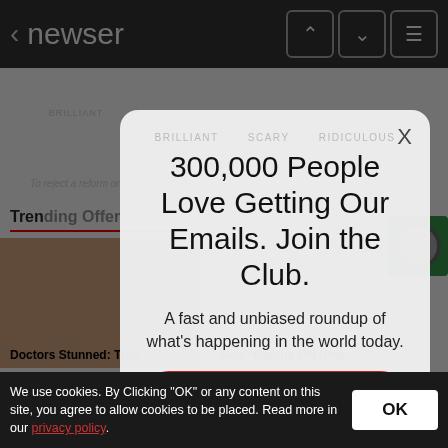< newser
[Figure (screenshot): Newser website background with navigation bar, trending section, and article thumbnails, dimmed behind a modal overlay]
300,000 People Love Getting Our Emails. Join the Club.
A fast and unbiased roundup of what’s happening in the world today.
your email address
SIGN UP
We use cookies. By Clicking "OK" or any content on this site, you agree to allow cookies to be placed. Read more in our privacy policy.